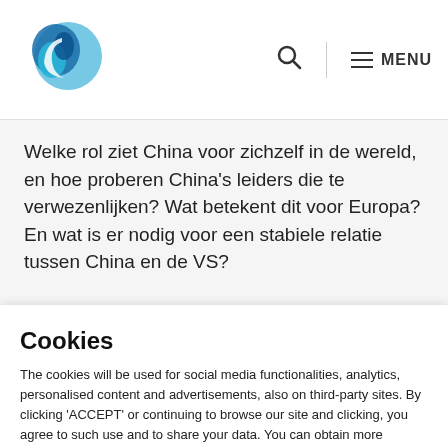Logo | Search | MENU
Welke rol ziet China voor zichzelf in de wereld, en hoe proberen China's leiders die te verwezenlijken? Wat betekent dit voor Europa? En wat is er nodig voor een stabiele relatie tussen China en de VS?
Cookies
The cookies will be used for social media functionalities, analytics, personalised content and advertisements, also on third-party sites. By clicking 'ACCEPT' or continuing to browse our site and clicking, you agree to such use and to share your data. You can obtain more information about our use of cookies via the 'Cookie settings'.
Cookie settings | Accept